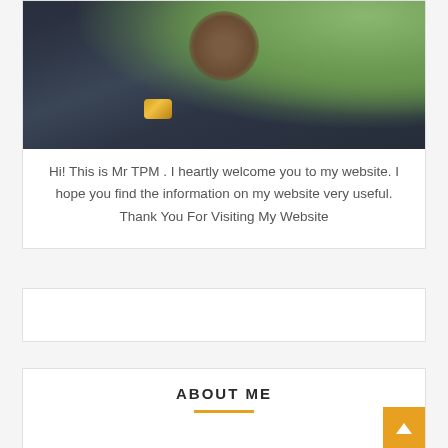[Figure (photo): Portrait photo of a man wearing a dark polka-dot shirt and a gold watch, with his hand near his chin, green foliage in the background]
Hi! This is Mr TPM . I heartly welcome you to my website. I hope you find the information on my website very useful. Thank You For Visiting My Website
ABOUT ME